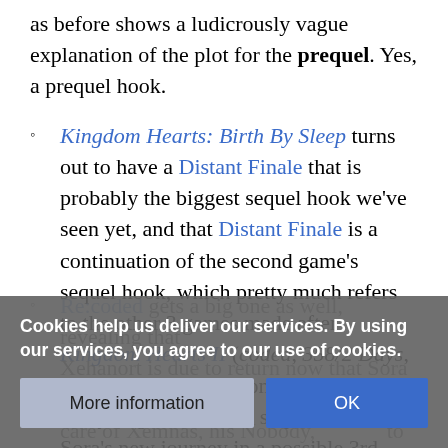as before shows a ludicrously vague explanation of the plot for the prequel. Yes, a prequel hook.
Kingdom Hearts: Birth By Sleep turns out to have a Distant Finale that is probably the biggest sequel hook we've seen yet, and that Distant Finale is a continuation of the second game's sequel hook, which pretty much refers to the other 3 games made after Kingdom Hearts II (coded, 358/2 Days, and Birth by Sleep. Combine their hooks and you get a massive sequel hook for Sora's new journey in a possible 3rd game to Reconnect Kingdom Hearts.
Re:coded gets a big one as well, revealing that Xehanort is due to return now that Sora has taken care of Xemnas, his Nobody, to hold a Master Qualification Exam for both Sora and Riku
Cookies help us deliver our services. By using our services, you agree to our use of cookies.